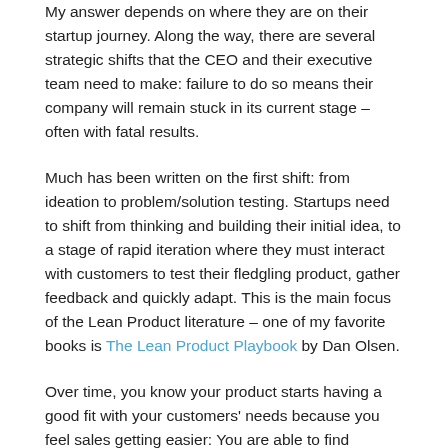My answer depends on where they are on their startup journey. Along the way, there are several strategic shifts that the CEO and their executive team need to make: failure to do so means their company will remain stuck in its current stage – often with fatal results.
Much has been written on the first shift: from ideation to problem/solution testing. Startups need to shift from thinking and building their initial idea, to a stage of rapid iteration where they must interact with customers to test their fledgling product, gather feedback and quickly adapt. This is the main focus of the Lean Product literature – one of my favorite books is The Lean Product Playbook by Dan Olsen.
Over time, you know your product starts having a good fit with your customers' needs because you feel sales getting easier: You are able to find customers, reuse sales materials, the pricing seems right, and